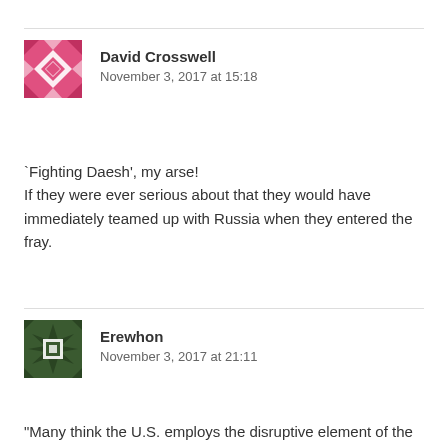[Figure (illustration): Pink/magenta geometric quilted avatar icon for David Crosswell]
David Crosswell
November 3, 2017 at 15:18
`Fighting Daesh', my arse!
If they were ever serious about that they would have immediately teamed up with Russia when they entered the fray.
[Figure (illustration): Dark green geometric quilted avatar icon for Erewhon]
Erewhon
November 3, 2017 at 21:11
“Many think the U.S. employs the disruptive element of the